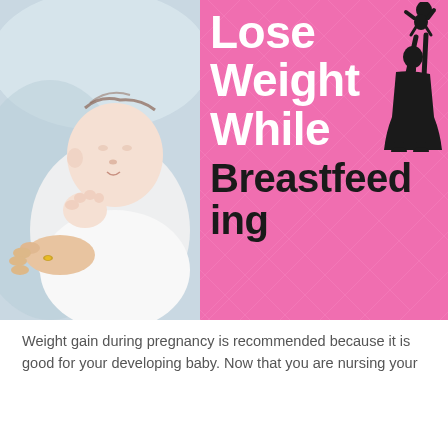[Figure (infographic): Banner image split in two halves: left half shows a photo-realistic illustration of a mother breastfeeding a baby (soft blue-gray tones), right half is a pink diamond-pattern background with white and black bold text reading 'Lose Weight While Breastfeeding' and a black silhouette of a mother lifting a baby overhead.]
Weight gain during pregnancy is recommended because it is good for your developing baby. Now that you are nursing your